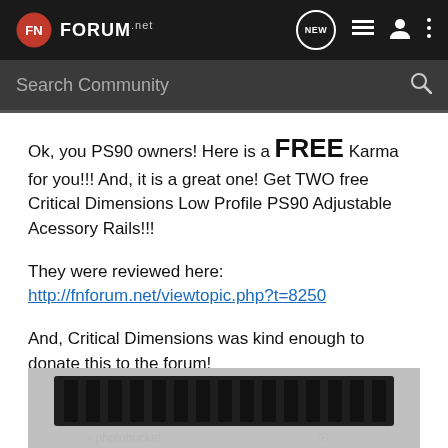FN FORUM.net
Search Community
Ok, you PS90 owners! Here is a FREE Karma for you!!! And, it is a great one! Get TWO free Critical Dimensions Low Profile PS90 Adjustable Acessory Rails!!!
They were reviewed here: http://fnforum.net/viewtopic.php?t=8250
And, Critical Dimensions was kind enough to donate this to the forum!
[Figure (photo): Dark-colored Picatinny/accessory rail shown against a light grey background, with photobucket watermark visible at the bottom]